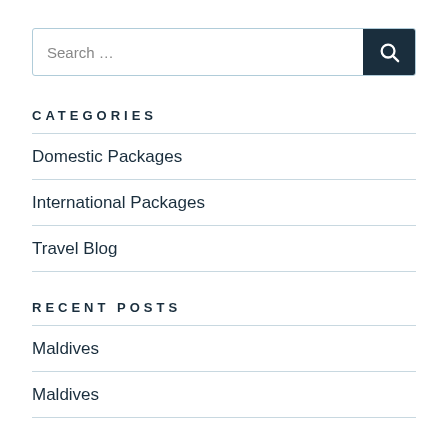Search …
CATEGORIES
Domestic Packages
International Packages
Travel Blog
RECENT POSTS
Maldives
Maldives